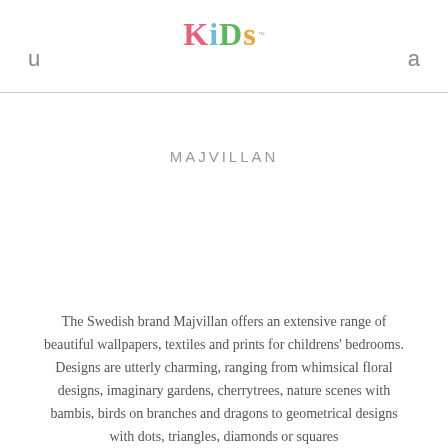KiDs
MAJVILLAN
The Swedish brand Majvillan offers an extensive range of beautiful wallpapers, textiles and prints for childrens' bedrooms. Designs are utterly charming, ranging from whimsical floral designs, imaginary gardens, cherrytrees, nature scenes with bambis, birds on branches and dragons to geometrical designs with dots, triangles, diamonds or squares